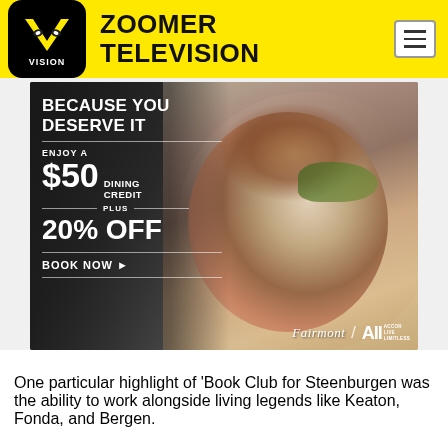ZOOMER TELEVISION
[Figure (infographic): Fairmont / ALL Accor Live Limitless hotel advertisement. Dark background with gourmet food dish photo. Text reads: BECAUSE YOU DESERVE IT. ENJOY A $50 DINING CREDIT PLUS 20% OFF. BOOK NOW. Fairmont / ALL Accor Live Limitless logos at bottom.]
One particular highlight of 'Book Club for Steenburgen was the ability to work alongside living legends like Keaton, Fonda, and Bergen.